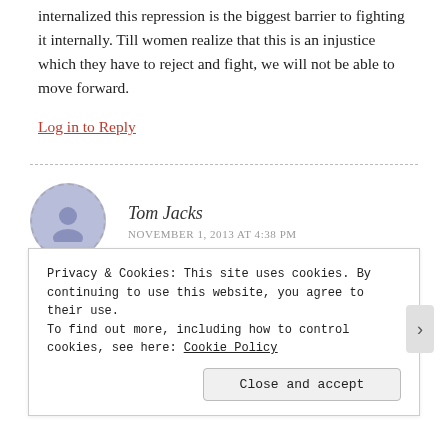internalized this repression is the biggest barrier to fighting it internally. Till women realize that this is an injustice which they have to reject and fight, we will not be able to move forward.
Log in to Reply
Tom Jacks
NOVEMBER 1, 2013 AT 4:38 PM
Hello Rita,
Privacy & Cookies: This site uses cookies. By continuing to use this website, you agree to their use.
To find out more, including how to control cookies, see here: Cookie Policy
Close and accept